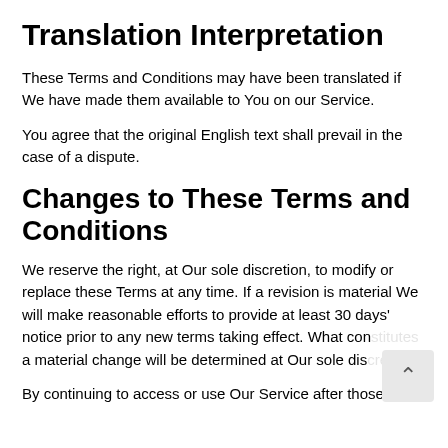Translation Interpretation
These Terms and Conditions may have been translated if We have made them available to You on our Service.
You agree that the original English text shall prevail in the case of a dispute.
Changes to These Terms and Conditions
We reserve the right, at Our sole discretion, to modify or replace these Terms at any time. If a revision is material We will make reasonable efforts to provide at least 30 days' notice prior to any new terms taking effect. What constitutes a material change will be determined at Our sole dis…
By continuing to access or use Our Service after those…